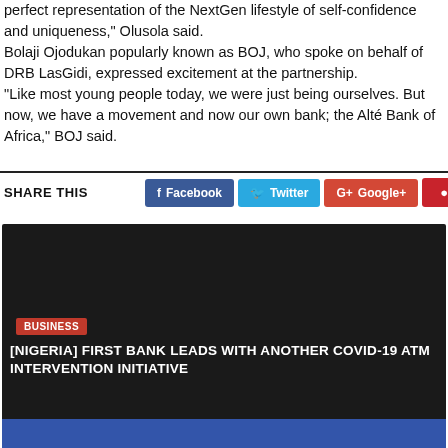perfect representation of the NextGen lifestyle of self-confidence and uniqueness," Olusola said. Bolaji Ojodukan popularly known as BOJ, who spoke on behalf of DRB LasGidi, expressed excitement at the partnership. "Like most young people today, we were just being ourselves. But now, we have a movement and now our own bank; the Alté Bank of Africa," BOJ said.
SHARE THIS
[Figure (infographic): Social share buttons: Facebook (blue), Twitter (light blue), Google+ (red), Pinterest (red icon), LinkedIn (blue icon)]
[Figure (photo): Dark background card with BUSINESS tag in red, article title '[NIGERIA] FIRST BANK LEADS WITH ANOTHER COVID-19 ATM INTERVENTION INITIATIVE' in white text]
[Figure (photo): Partial image at bottom with blue and red design elements]